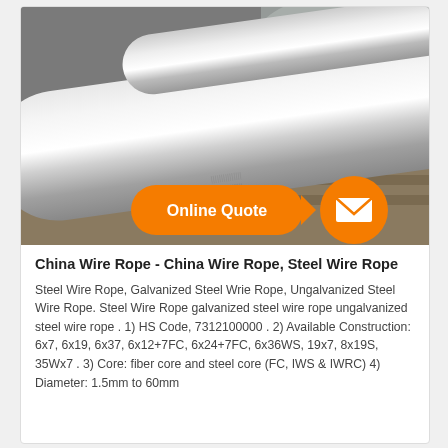[Figure (photo): Photograph of polished steel rods/bars resting on wooden pallets with plastic sheeting visible in background. Orange 'Online Quote' button and envelope circle overlaid at bottom of image.]
China Wire Rope - China Wire Rope, Steel Wire Rope
Steel Wire Rope, Galvanized Steel Wrie Rope, Ungalvanized Steel Wire Rope. Steel Wire Rope galvanized steel wire rope ungalvanized steel wire rope . 1) HS Code, 7312100000 . 2) Available Construction: 6x7, 6x19, 6x37, 6x12+7FC, 6x24+7FC, 6x36WS, 19x7, 8x19S, 35Wx7 . 3) Core: fiber core and steel core (FC, IWS & IWRC) 4) Diameter: 1.5mm to 60mm